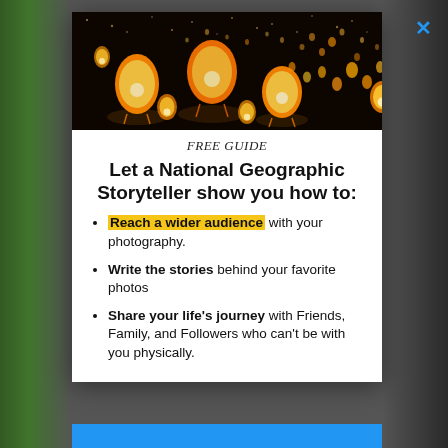[Figure (photo): Sky lanterns floating against a dark night sky, glowing orange and golden.]
FREE GUIDE
Let a National Geographic Storyteller show you how to:
Reach a wider audience with your photography.
Write the stories behind your favorite photos
Share your life's journey with Friends, Family, and Followers who can't be with you physically.